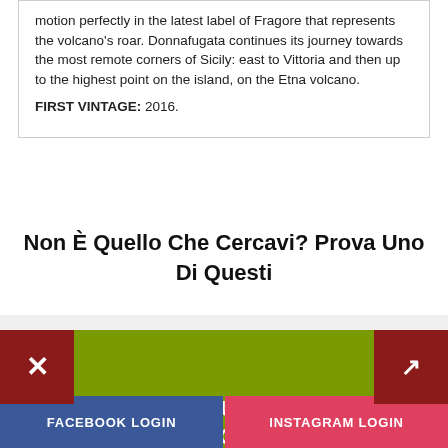motion perfectly in the latest label of Fragore that represents the volcano's roar. Donnafugata continues its journey towards the most remote corners of Sicily: east to Vittoria and then up to the highest point on the island, on the Etna volcano. FIRST VINTAGE: 2016.
Non È Quello Che Cercavi? Prova Uno Di Questi
Noi usiamo i cookies
DISCOVER YOUR PERSONAL DISCOUNT
FACEBOOK LOGIN
INSTAGRAM LOGIN